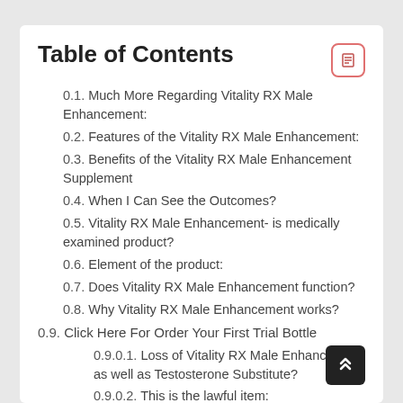Table of Contents
0.1. Much More Regarding Vitality RX Male Enhancement:
0.2. Features of the Vitality RX Male Enhancement:
0.3. Benefits of the Vitality RX Male Enhancement Supplement
0.4. When I Can See the Outcomes?
0.5. Vitality RX Male Enhancement- is medically examined product?
0.6. Element of the product:
0.7. Does Vitality RX Male Enhancement function?
0.8. Why Vitality RX Male Enhancement works?
0.9. Click Here For Order Your First Trial Bottle
0.9.0.1. Loss of Vitality RX Male Enhancement as well as Testosterone Substitute?
0.9.0.2. This is the lawful item:
0.9.1. Where to buy Vitality RX Male Enhancement as well as…